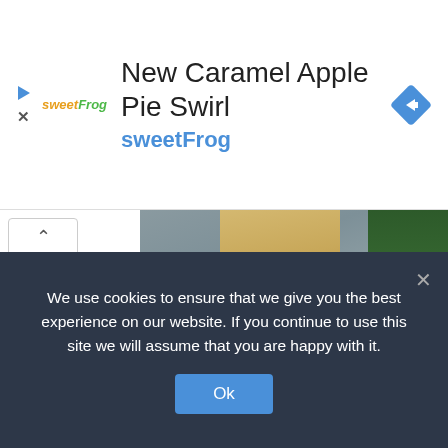[Figure (screenshot): Ad banner for sweetFrog 'New Caramel Apple Pie Swirl' with logo, navigation arrow icon, play and close controls on the left]
[Figure (photo): Photo of a woman in a gray long-sleeve top and white pencil skirt, viewed from behind, leaning on a white surface with green foliage to the right]
We use cookies to ensure that we give you the best experience on our website. If you continue to use this site we will assume that you are happy with it.
Ok